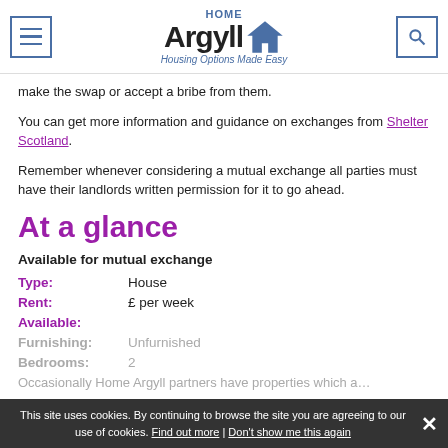HOME Argyll — Housing Options Made Easy
make the swap or accept a bribe from them.
You can get more information and guidance on exchanges from Shelter Scotland.
Remember whenever considering a mutual exchange all parties must have their landlords written permission for it to go ahead.
At a glance
Available for mutual exchange
Type: House
Rent: £ per week
Available:
Furnishing: Unfurnished
Bedrooms: 2
Occasionally Home Argyll partners have properties which a…
This site uses cookies. By continuing to browse the site you are agreeing to our use of cookies. Find out more | Don't show me this again  ×